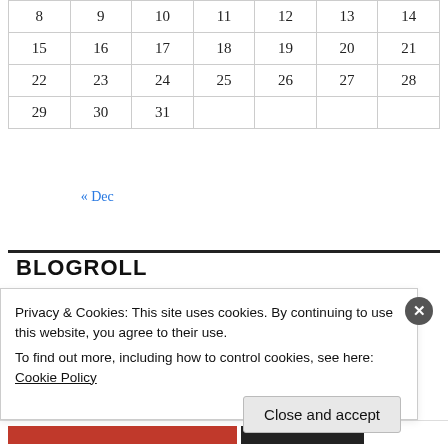| 8 | 9 | 10 | 11 | 12 | 13 | 14 |
| 15 | 16 | 17 | 18 | 19 | 20 | 21 |
| 22 | 23 | 24 | 25 | 26 | 27 | 28 |
| 29 | 30 | 31 |  |  |  |  |
« Dec
BLOGROLL
Privacy & Cookies: This site uses cookies. By continuing to use this website, you agree to their use.
To find out more, including how to control cookies, see here: Cookie Policy
Close and accept